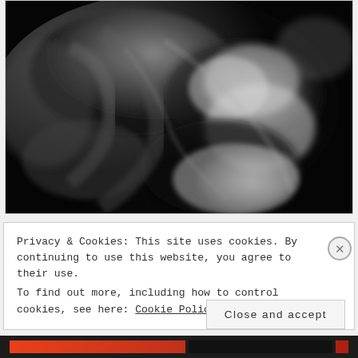[Figure (photo): Ultrasound image showing grayscale sonogram of a fetus. The image has a dark background with light gray and white areas showing fetal anatomy. The image has a slight border.]
Privacy & Cookies: This site uses cookies. By continuing to use this website, you agree to their use.
To find out more, including how to control cookies, see here: Cookie Policy
Close and accept